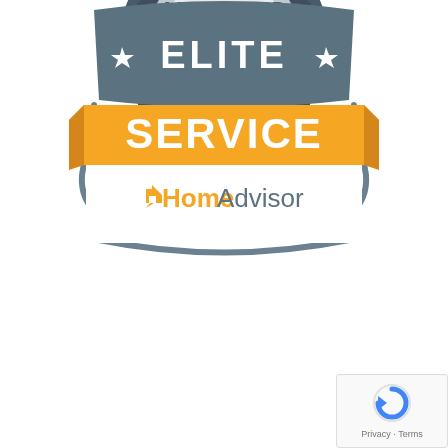[Figure (logo): Partially visible circular badge with dark navy/grey serrated edge showing text 'APPROVED' at top, silver/grey center. Only bottom portion visible at top of page.]
[Figure (logo): HomeAdvisor Elite Service badge. Dark grey shield/banner shape with 'ELITE' in white bold text flanked by white star icons. Below is a wide orange diagonal ribbon banner with 'SERVICE' in large white bold text. Below that is a white panel with HomeAdvisor logo (orange house icon with speech bubble, 'Home' in orange bold and 'Advisor' in grey). Grey curved bracket lines surround lower portion of badge.]
[Figure (logo): Google reCAPTCHA widget in bottom right corner showing grey circular arrow icon and 'Privacy - Terms' text below.]